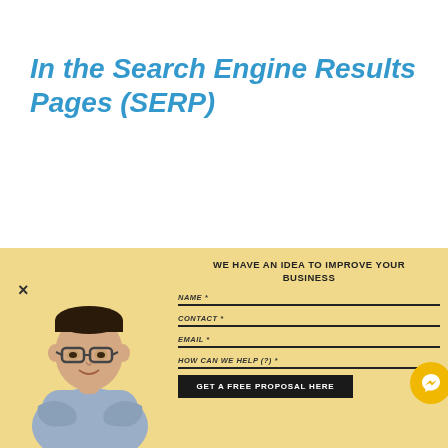In the Search Engine Results Pages (SERP)
[Figure (photo): Man with glasses and crossed arms standing against light background]
WE HAVE AN IDEA TO IMPROVE YOUR BUSINESS
NAME *
CONTACT *
EMAIL *
HOW CAN WE HELP (?) *
GET A FREE PROPOSAL HERE